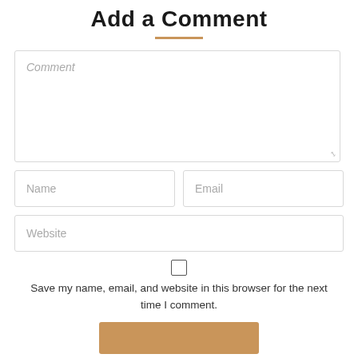Add a Comment
[Figure (other): Comment form with textarea for Comment, two text fields for Name and Email side by side, a text field for Website, a checkbox with label 'Save my name, email, and website in this browser for the next time I comment.', and a tan/brown submit button at the bottom.]
Save my name, email, and website in this browser for the next time I comment.